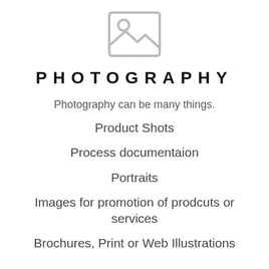[Figure (illustration): Placeholder image icon — a grey square with a mountain/landscape and circle (sun) symbol inside]
PHOTOGRAPHY
Photography can be many things.
Product Shots
Process documentaion
Portraits
Images for promotion of prodcuts or services
Brochures, Print or Web Illustrations